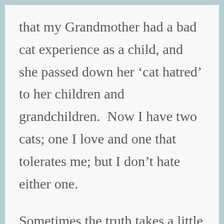that my Grandmother had a bad cat experience as a child, and she passed down her 'cat hatred' to her children and grandchildren.  Now I have two cats; one I love and one that tolerates me; but I don't hate either one.
Sometimes the truth takes a little more digging; “why did I put down my pen when I was 15 and planning